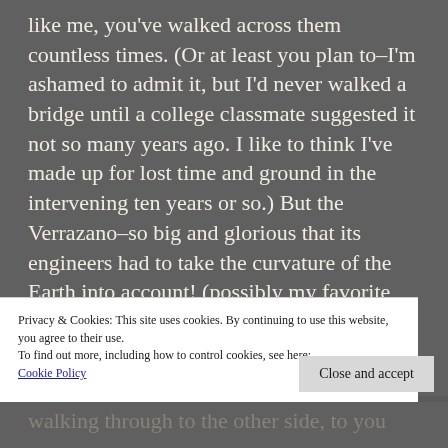like me, you've walked across them countless times. (Or at least you plan to–I'm ashamed to admit it, but I'd never walked a bridge until a college classmate suggested it not so many years ago. I like to think I've made up for lost time and ground in the intervening ten years or so.) But the Verrazano–so big and glorious that its engineers had to take the curvature of the Earth into account! (possibly my favorite factoid from Robert Caro's marvelous The Power Broker about our local master builder and
Privacy & Cookies: This site uses cookies. By continuing to use this website, you agree to their use.
To find out more, including how to control cookies, see here: Cookie Policy
Close and accept
walking through to the other side, to you